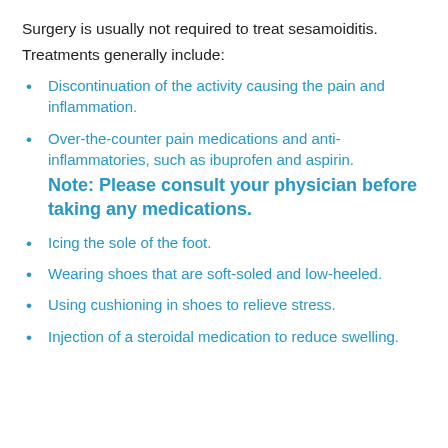Surgery is usually not required to treat sesamoiditis.
Treatments generally include:
Discontinuation of the activity causing the pain and inflammation.
Over-the-counter pain medications and anti-inflammatories, such as ibuprofen and aspirin. Note: Please consult your physician before taking any medications.
Icing the sole of the foot.
Wearing shoes that are soft-soled and low-heeled.
Using cushioning in shoes to relieve stress.
Injection of a steroidal medication to reduce swelling.